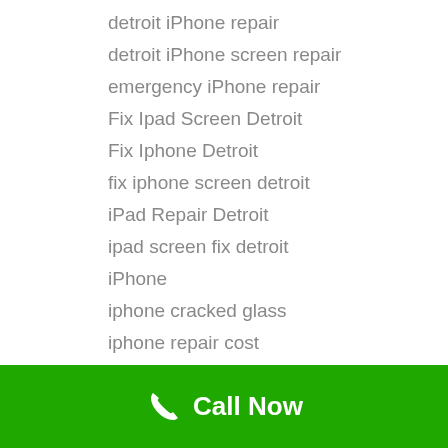detroit iPhone repair
detroit iPhone screen repair
emergency iPhone repair
Fix Ipad Screen Detroit
Fix Iphone Detroit
fix iphone screen detroit
iPad Repair Detroit
ipad screen fix detroit
iPhone
iphone cracked glass
iphone repair cost
iPhone repair detroit
iPhone Repair Near Me
Call Now